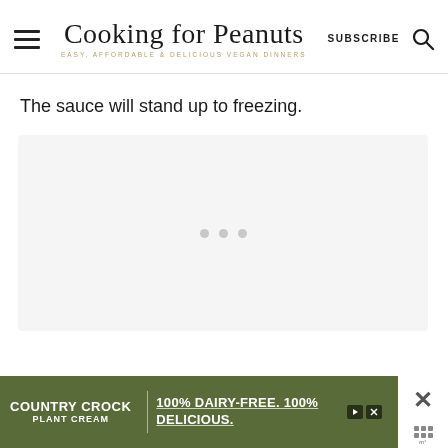Cooking for Peanuts — EASY, AFFORDABLE & DELICIOUS VEGAN DINNERS
The sauce will stand up to freezing.
[Figure (other): Ad loading placeholder with three grey dots indicating content loading]
[Figure (other): Country Crock Plant Cream advertisement banner: '100% DAIRY-FREE. 100% DELICIOUS.' on olive green background]